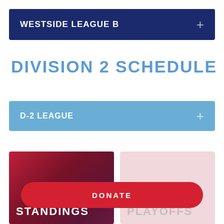WESTSIDE LEAGUE B
DIVISION 2 SCHEDULE
D-2 LEAGUE
[Figure (other): STANDINGS button card with dark red gradient background]
[Figure (other): PLAYOFFS button card with light pink background]
DONATE